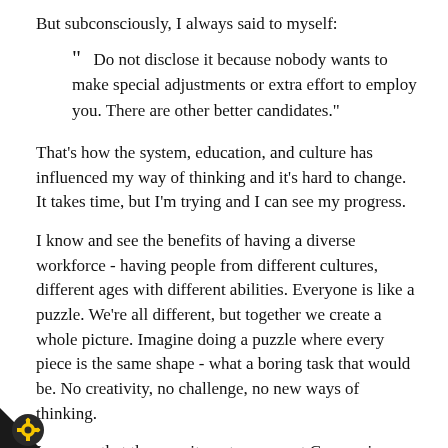But subconsciously, I always said to myself:
“ Do not disclose it because nobody wants to make special adjustments or extra effort to employ you. There are other better candidates.”
That’s how the system, education, and culture has influenced my way of thinking and it’s hard to change. It takes time, but I’m trying and I can see my progress.
I know and see the benefits of having a diverse workforce - having people from different cultures, different ages with different abilities. Everyone is like a puzzle. We’re all different, but together we create a whole picture. Imagine doing a puzzle where every piece is the same shape - what a boring task that would be. No creativity, no challenge, no new ways of thinking.
I can say that the recruitment process at Companies House is fully inclusive of all physical and mental disabilities. As part of r commitment to a diverse and inclusive workforce, dates are asked to provide an anonymous application ws them to shine. When applying, you must remove